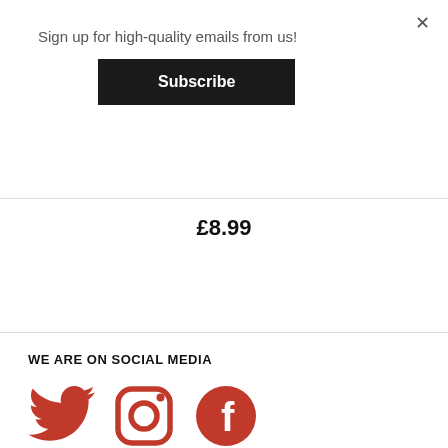Sign up for high-quality emails from us!
Subscribe
£8.99
Add to cart
WE ARE ON SOCIAL MEDIA
[Figure (illustration): Three social media icons: Twitter bird (red), Instagram camera (red), Facebook 'f' logo (red)]